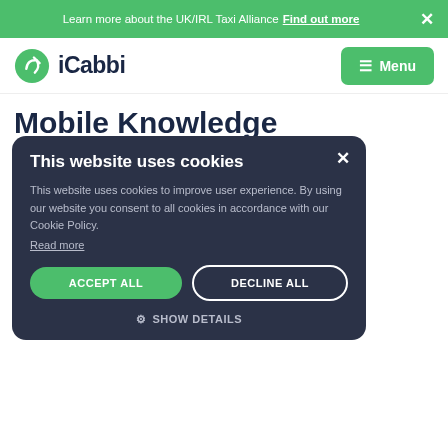Learn more about the UK/IRL Taxi Alliance Find out more ×
[Figure (logo): iCabbi logo: green circle with white arrow icon, followed by bold dark navy text 'iCabbi']
Mobile Knowledge
Customers
Mobile knowledge customers will have comfort in knowing that they are using well to be supported and maintained. The same to and customers will be able to enjoy market-leading levels of customer service. They will soon also
[Figure (screenshot): Cookie consent modal overlay on dark background (#2b3247). Title: 'This website uses cookies'. Body text: 'This website uses cookies to improve user experience. By using our website you consent to all cookies in accordance with our Cookie Policy. Read more'. Two buttons: 'ACCEPT ALL' (green, pill-shaped) and 'DECLINE ALL' (outlined, pill-shaped). Below: gear icon with 'SHOW DETAILS' text. Close X button in top right.]